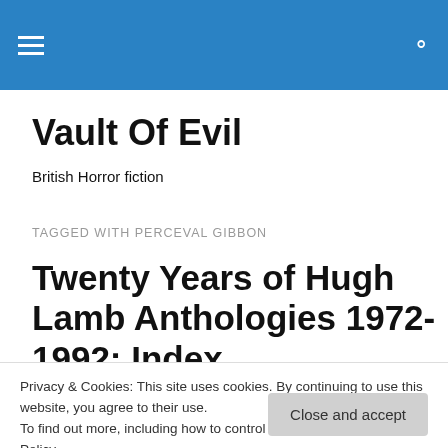Vault Of Evil
British Horror fiction
TAGGED WITH PERCEVAL GIBBON
Twenty Years of Hugh Lamb Anthologies 1972-1992: Index
Privacy & Cookies: This site uses cookies. By continuing to use this website, you agree to their use.
To find out more, including how to control cookies, see here: Cookie Policy
Close and accept